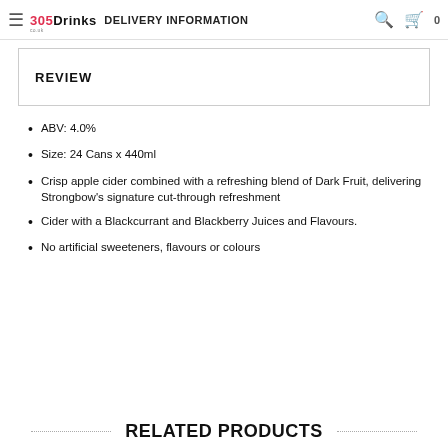305Drinks — DELIVERY INFORMATION
REVIEW
ABV: 4.0%
Size: 24 Cans x 440ml
Crisp apple cider combined with a refreshing blend of Dark Fruit, delivering Strongbow's signature cut-through refreshment
Cider with a Blackcurrant and Blackberry Juices and Flavours.
No artificial sweeteners, flavours or colours
RELATED PRODUCTS